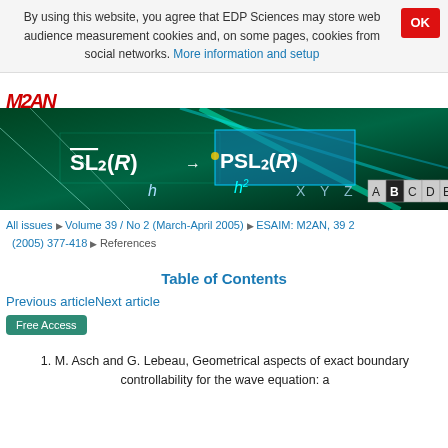By using this website, you agree that EDP Sciences may store web audience measurement cookies and, on some pages, cookies from social networks. More information and setup
[Figure (illustration): EDP Sciences / M2AN journal header banner with mathematical notation (SL2(R), PSL2(R)) overlaid on a teal/cyan laser beam background with alphabet tiles]
All issues ▶ Volume 39 / No 2 (March-April 2005) ▶ ESAIM: M2AN, 39 2 (2005) 377-418 ▶ References
Table of Contents
Previous articleNext article
Free Access
1. M. Asch and G. Lebeau, Geometrical aspects of exact boundary controllability for the wave equation: a